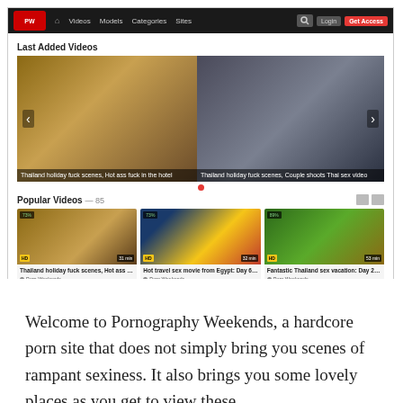[Figure (screenshot): Screenshot of a pornography website called 'Pornography Weekends' showing a navigation bar with Videos, Models, Categories, Sites links, a 'Last Added Videos' slider section with two video thumbnails captioned 'Thailand holiday fuck scenes, Hot ass fuck in the hotel' and 'Thailand holiday fuck scenes, Couple shoots Thai sex video', and a 'Popular Videos — 85' section showing 6 video thumbnails in a 2-row grid with titles and tags.]
Welcome to Pornography Weekends, a hardcore porn site that does not simply bring you scenes of rampant sexiness. It also brings you some lovely places as you get to view these